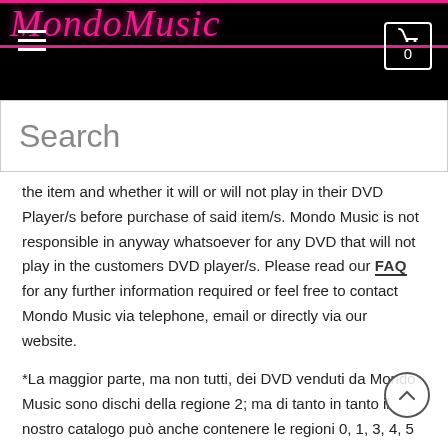MondoMusic — navigation header with logo, hamburger menu, and cart icon showing 0
Search
the item and whether it will or will not play in their DVD Player/s before purchase of said item/s. Mondo Music is not responsible in anyway whatsoever for any DVD that will not play in the customers DVD player/s. Please read our FAQ for any further information required or feel free to contact Mondo Music via telephone, email or directly via our website.
*La maggior parte, ma non tutti, dei DVD venduti da Mondo Music sono dischi della regione 2; ma di tanto in tanto il nostro catalogo può anche contenere le regioni 0, 1, 3, 4, 5 e 6. Questi DVD con codice regionale (eccetto la regione 0) possono o non possono essere riprodotti nel lettore DVD. Per riprodurre questo disco in Australia è necessario un lettore multiregionale. I codici regionali possono essere distinti nella descrizione